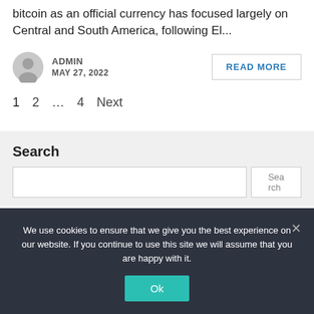bitcoin as an official currency has focused largely on Central and South America, following El...
ADMIN
MAY 27, 2022
READ MORE
1  2  …  4  Next
Search
We use cookies to ensure that we give you the best experience on our website. If you continue to use this site we will assume that you are happy with it.
Ok